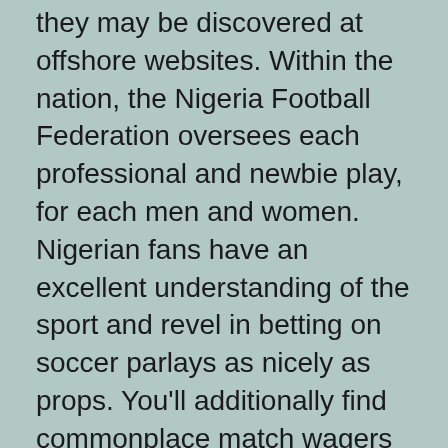they may be discovered at offshore websites. Within the nation, the Nigeria Football Federation oversees each professional and newbie play, for each men and women. Nigerian fans have an excellent understanding of the sport and revel in betting on soccer parlays as nicely as props. You'll additionally find commonplace match wagers being made on both a win or a draw and over/under outcomes.
When people see the large selection of on-line on line casino video games they generally assume that the membership is freed from